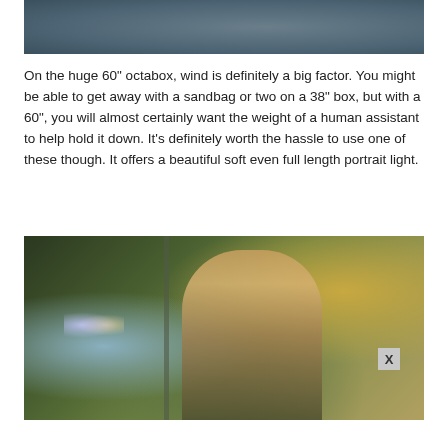[Figure (photo): Top portion of a photograph showing the lower half of a person wearing jeans, outdoors with a blurred background]
On the huge 60" octabox, wind is definitely a big factor. You might be able to get away with a sandbag or two on a 38" box, but with a 60", you will almost certainly want the weight of a human assistant to help hold it down. It's definitely worth the hassle to use one of these though. It offers a beautiful soft even full length portrait light.
[Figure (photo): Portrait photograph of a young woman with blonde hair pulled back, wearing a dark top, posed thoughtfully with hand near chin, photographed outdoors with bokeh background of trees and lights at golden hour]